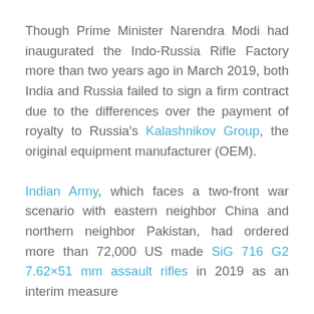Though Prime Minister Narendra Modi had inaugurated the Indo-Russia Rifle Factory more than two years ago in March 2019, both India and Russia failed to sign a firm contract due to the differences over the payment of royalty to Russia's Kalashnikov Group, the original equipment manufacturer (OEM).
Indian Army, which faces a two-front war scenario with eastern neighbor China and northern neighbor Pakistan, had ordered more than 72,000 US made SiG 716 G2 7.62×51 mm assault rifles in 2019 as an interim measure